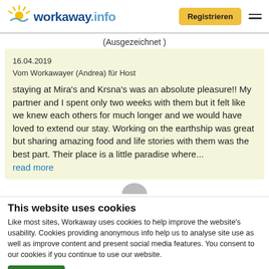workaway.info — Registrieren
(Ausgezeichnet)
16.04.2019
Vom Workawayer (Andrea) für Host
staying at Mira's and Krsna's was an absolute pleasure!! My partner and I spent only two weeks with them but it felt like we knew each others for much longer and we would have loved to extend our stay. Working on the earthship was great but sharing amazing food and life stories with them was the best part. Their place is a little paradise where... read more
This website uses cookies
Like most sites, Workaway uses cookies to help improve the website's usability. Cookies providing anonymous info help us to analyse site use as well as improve content and present social media features.  You consent to our cookies if you continue to use our website.
OK
Settings